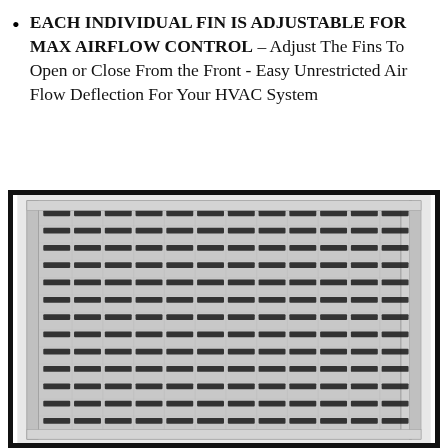EACH INDIVIDUAL FIN IS ADJUSTABLE FOR MAX AIRFLOW CONTROL – Adjust The Fins To Open or Close From the Front - Easy Unrestricted Air Flow Deflection For Your HVAC System
[Figure (photo): Close-up photograph of a white HVAC air vent register with adjustable horizontal fins arranged in a grid pattern, showing rows and columns of louvers with visible air slots between them. Two mounting holes visible on the sides.]